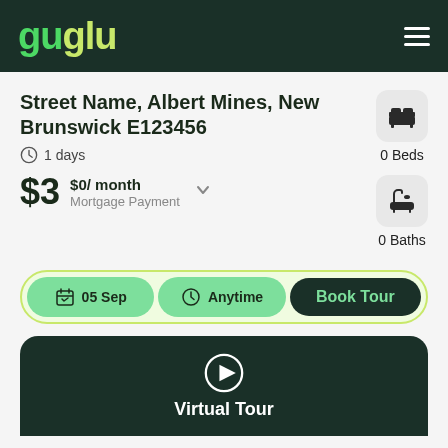guglu
Street Name, Albert Mines, New Brunswick E123456
1 days
$3  $0/ month  Mortgage Payment
0 Beds
0 Baths
05 Sep  Anytime  Book Tour
[Figure (screenshot): Virtual Tour section with play button and label 'Virtual Tour' on dark green background]